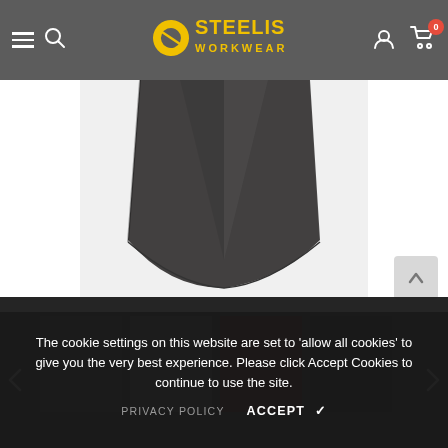[Figure (screenshot): Steelis Workwear website header with hamburger menu, search icon, logo, user icon, and cart with 0 badge]
[Figure (photo): Close-up bottom portion of a dark charcoal grey heather t-shirt product photo on white/light grey background]
[Figure (photo): Scroll to top arrow button in bottom right of product image area]
[Figure (photo): Thumbnail strip showing t-shirt product in multiple colors: dark grey, medium grey, maroon/dark red, black]
The cookie settings on this website are set to 'allow all cookies' to give you the very best experience. Please click Accept Cookies to continue to use the site.
PRIVACY POLICY   ACCEPT ✔